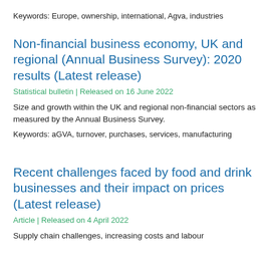Keywords: Europe, ownership, international, Agva, industries
Non-financial business economy, UK and regional (Annual Business Survey): 2020 results (Latest release)
Statistical bulletin | Released on 16 June 2022
Size and growth within the UK and regional non-financial sectors as measured by the Annual Business Survey.
Keywords: aGVA, turnover, purchases, services, manufacturing
Recent challenges faced by food and drink businesses and their impact on prices (Latest release)
Article | Released on 4 April 2022
Supply chain challenges, increasing costs and labour